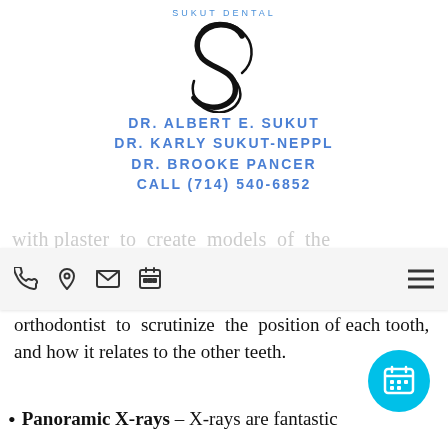[Figure (logo): Sukut Dental logo with stylized S letterform and 'SUKUT DENTAL' text above]
DR. ALBERT E. SUKUT
DR. KARLY SUKUT-NEPPL
DR. BROOKE PANCER
CALL (714) 540-6852
with plaster to create models of the patient's teeth. Study models enable the orthodontist to scrutinize the position of each tooth, and how it relates to the other teeth.
Panoramic X-rays – X-rays are fantastic tools for viewing potential complications...